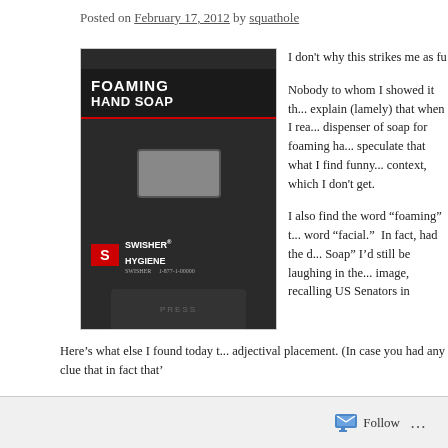Posted on February 17, 2012 by squathole
[Figure (photo): A black Swisher Hygiene foaming hand soap dispenser with white bold text reading FOAMING HAND SOAP, a red underline, a small window, the Swisher logo, and a PRESS button at the bottom.]
I don't why this strikes me as fu
Nobody to whom I showed it th... explain (lamely) that when I rea... dispenser of soap for foaming ha... speculate that what I find funny... context, which I don't get.
I also find the word “foaming” t... word “facial.”  In fact, had the d... Soap” I’d still be laughing in the... image, recalling US Senators in
Here’s what else I found today t... adjectival placement. (In case you had any clue that in fact that'
Follow ...